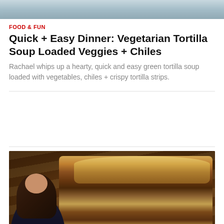[Figure (photo): Top partial food image, cropped at top of page]
FOOD & FUN
Quick + Easy Dinner: Vegetarian Tortilla Soup Loaded Veggies + Chiles
Rachael whips up a hearty, quick and easy green tortilla soup loaded with vegetables, chiles + crispy tortilla strips.
[Figure (photo): Photo of woman with burrito/wrap cross-section stacked on a dark background]